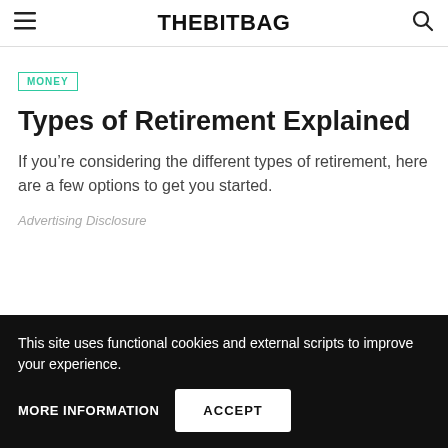THEBITBAG
MONEY
Types of Retirement Explained
If you're considering the different types of retirement, here are a few options to get you started.
Advertising Disclosure
This site uses functional cookies and external scripts to improve your experience.
MORE INFORMATION
ACCEPT